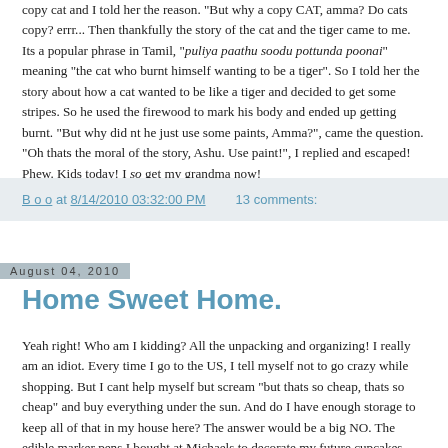copy cat and I told her the reason. "But why a copy CAT, amma? Do cats copy? errr... Then thankfully the story of the cat and the tiger came to me. Its a popular phrase in Tamil, "puliya paathu soodu pottunda poonai" meaning "the cat who burnt himself wanting to be a tiger". So I told her the story about how a cat wanted to be like a tiger and decided to get some stripes. So he used the firewood to mark his body and ended up getting burnt. "But why did nt he just use some paints, Amma?", came the question. "Oh thats the moral of the story, Ashu. Use paint!", I replied and escaped! Phew. Kids today! I so get my grandma now!
B o o at 8/14/2010 03:32:00 PM   13 comments:
August 04, 2010
Home Sweet Home.
Yeah right! Who am I kidding? All the unpacking and organizing! I really am an idiot. Every time I go to the US, I tell myself not to go crazy while shopping. But I cant help myself but scream "but thats so cheap, thats so cheap" and buy everything under the sun. And do I have enough storage to keep all of that in my house here? The answer would be a big NO. The edible marker pens I bought at Michaels to decorate my future cupcakes - do I really need that?